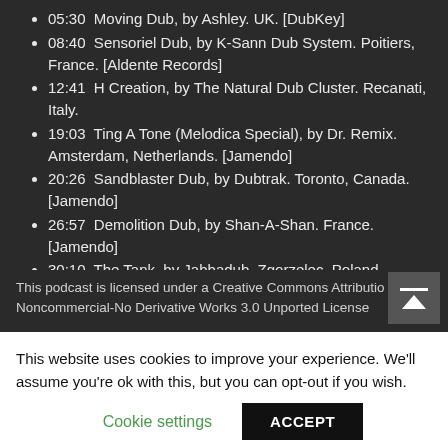05:30  Moving Dub, by Ashley. UK. [DubKey]
08:40  Sensoriel Dub, by K-Sann Dub System. Poitiers, France. [Aldente Records]
12:41  H Creation, by The Natural Dub Cluster. Recanati, Italy.
19:03  Ting A Tone (Melodica Special), by Dr. Remix. Amsterdam, Netherlands. [Jamendo]
20:26  Sandblaster Dub, by Dubtrak. Toronto, Canada. [Jamendo]
26:57  Demolition Dub, by Shan-A-Shan. France.  [Jamendo]
30:10  The Tank, by Jabbadub. Zgorzelec, Poland. [Paproota]
This podcast is licensed under a Creative Commons Attribution-Noncommercial-No Derivative Works 3.0 Unported License
This website uses cookies to improve your experience. We'll assume you're ok with this, but you can opt-out if you wish.
Cookie settings    ACCEPT